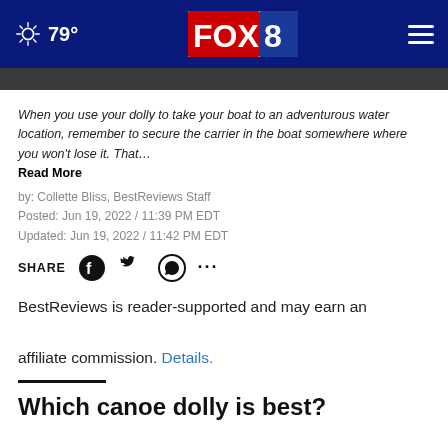79° FOX 8
When you use your dolly to take your boat to an adventurous water location, remember to secure the carrier in the boat somewhere where you won't lose it. That…
Read More
by: Collette Bliss, BestReviews Staff
Posted: Jun 19, 2022 / 11:39 PM EDT
Updated: Jun 19, 2022 / 11:42 PM EDT
SHARE
BestReviews is reader-supported and may earn an affiliate commission. Details.
Which canoe dolly is best?